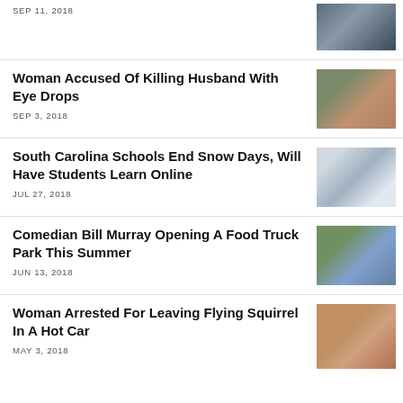SEP 11, 2018
Woman Accused Of Killing Husband With Eye Drops
SEP 3, 2018
South Carolina Schools End Snow Days, Will Have Students Learn Online
JUL 27, 2018
Comedian Bill Murray Opening A Food Truck Park This Summer
JUN 13, 2018
Woman Arrested For Leaving Flying Squirrel In A Hot Car
MAY 3, 2018